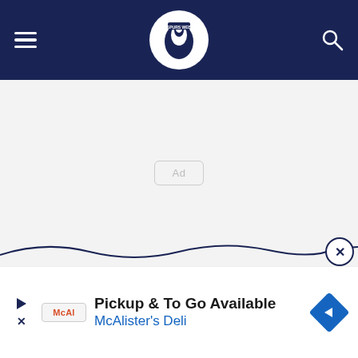Spurs Web - navigation bar with hamburger menu, logo, and search icon
[Figure (other): Advertisement placeholder box with 'Ad' label in center of light gray content area]
[Figure (other): Wave/divider SVG line with close (X) button circle on right side]
[Figure (other): McAlister's Deli advertisement banner: 'Pickup & To Go Available / McAlister's Deli' with play/close icons, McAl logo badge, and blue direction arrow diamond icon]